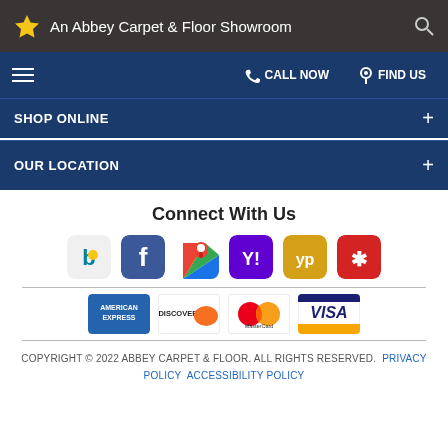An Abbey Carpet & Floor Showroom
CALL NOW  FIND US
SHOP ONLINE +
OUR LOCATION +
Connect With Us
[Figure (logo): Social media icons: Bing, Facebook, Google Maps, Yahoo, Yellow Pages, Yelp]
[Figure (logo): Payment icons: American Express, Discover, MasterCard, Visa]
COPYRIGHT © 2022 ABBEY CARPET & FLOOR. ALL RIGHTS RESERVED. PRIVACY POLICY ACCESSIBILITY POLICY